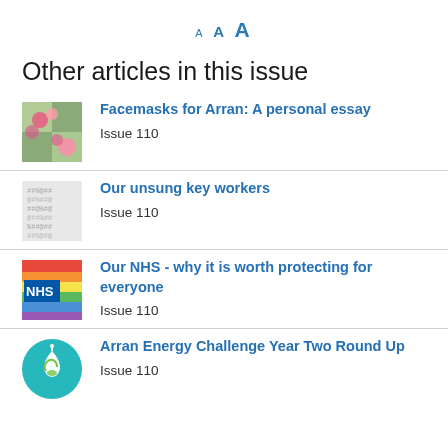A A A
Other articles in this issue
Facemasks for Arran: A personal essay
Issue 110
Our unsung key workers
Issue 110
Our NHS - why it is worth protecting for everyone
Issue 110
Arran Energy Challenge Year Two Round Up
Issue 110